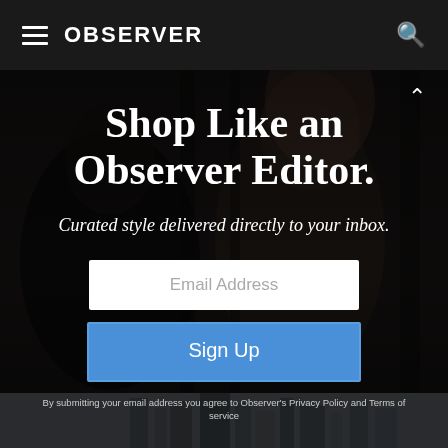[Figure (screenshot): Observer website newsletter signup page with dark overlay on fashion photo background. Shows hamburger menu, OBSERVER logo, search icon in top navigation bar. Hero section with email signup form.]
OBSERVER
Shop Like an Observer Editor.
Curated style delivered directly to your inbox.
Email Address
Sign Up
By submitting your email address you agree to Observer's Privacy Policy and Terms of service